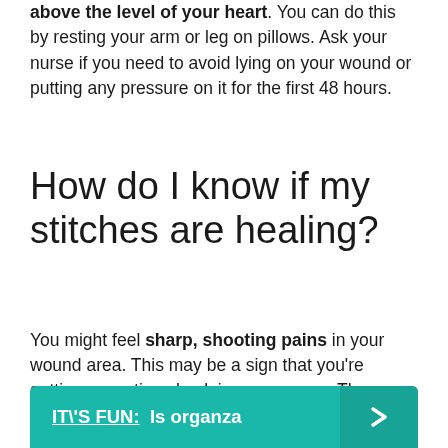above the level of your heart. You can do this by resting your arm or leg on pillows. Ask your nurse if you need to avoid lying on your wound or putting any pressure on it for the first 48 hours.
How do I know if my stitches are healing?
You might feel sharp, shooting pains in your wound area. This may be a sign that you're getting sensations back in your nerves. The feeling should become less intense and happen less often over time, but check with your doctor if you're concerned.
IT\'S FUN:  Is organza